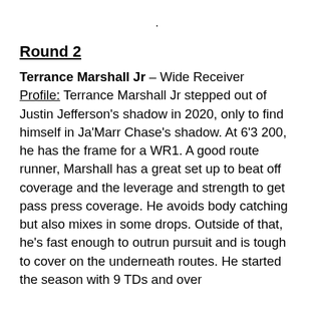.
Round 2
Terrance Marshall Jr – Wide Receiver
Profile: Terrance Marshall Jr stepped out of Justin Jefferson's shadow in 2020, only to find himself in Ja'Marr Chase's shadow. At 6'3 200, he has the frame for a WR1. A good route runner, Marshall has a great set up to beat off coverage and the leverage and strength to get pass press coverage. He avoids body catching but also mixes in some drops. Outside of that, he's fast enough to outrun pursuit and is tough to cover on the underneath routes. He started the season with 9 TDs and over